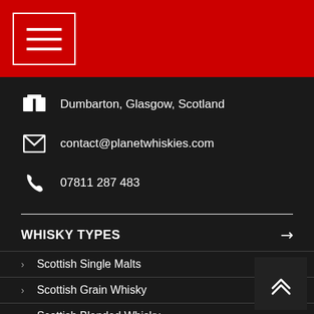[Figure (other): Hamburger menu button with three horizontal lines on a red background header bar]
Dumbarton, Glasgow, Scotland
contact@planetwhiskies.com
07811 287 483
WHISKY TYPES
Scottish Single Malts
Scottish Grain Whisky
Scottish Blended Whisky
Welsh Whisky
Irish Whiskey